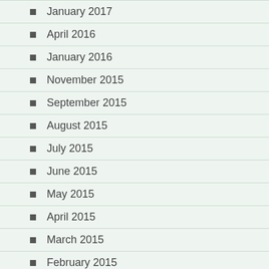January 2017
April 2016
January 2016
November 2015
September 2015
August 2015
July 2015
June 2015
May 2015
April 2015
March 2015
February 2015
January 2015
December 2014
November 2014